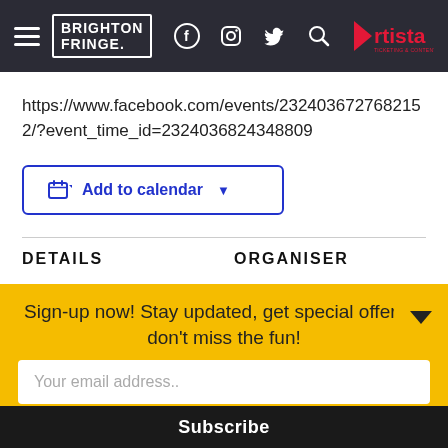Brighton Fringe | Artista
https://www.facebook.com/events/2324036727682152/?event_time_id=2324036824348809
Add to calendar
DETAILS
ORGANISER
Sign-up now! Stay updated, get special offers & don't miss the fun!
Your email address..
Subscribe